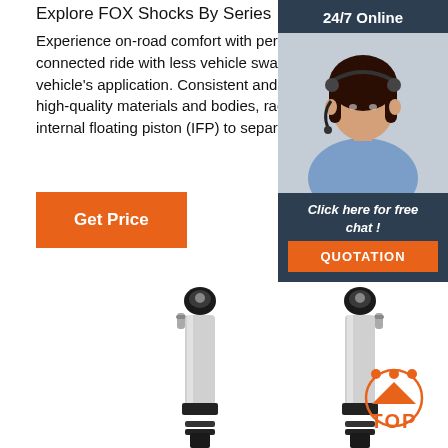Explore FOX Shocks By Series
Experience on-road comfort with performance-minded shock valving for a connected ride with less vehicle sway. Tuned specifically for your vehicle's application. Consistent and fade-resistant performance due to high-quality materials and bodies, race-developed main piston, and a true internal floating piston (IFP) to separate gas and oil.
[Figure (other): Orange 'Get Price' button]
[Figure (other): 24/7 Online chat widget with customer service representative photo, 'Click here for free chat!' text, and orange QUOTATION button]
[Figure (photo): Two FOX shock absorbers side by side, silver cylindrical bodies with black top mounts and black coil spring perches at the bottom]
[Figure (other): Orange TOP navigation button with dots and triangle arrow]